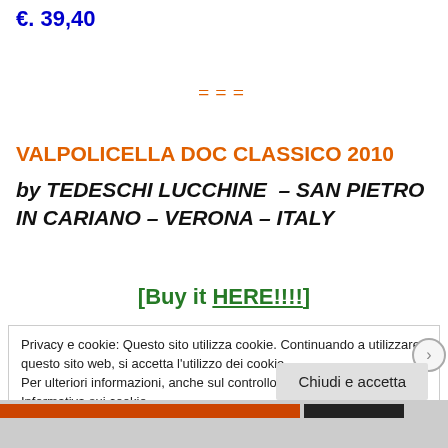€. 39,40
===
VALPOLICELLA DOC CLASSICO 2010
by TEDESCHI LUCCHINE – SAN PIETRO IN CARIANO – VERONA – ITALY
[Buy it HERE!!!!]
Privacy e cookie: Questo sito utilizza cookie. Continuando a utilizzare questo sito web, si accetta l'utilizzo dei cookie.
Per ulteriori informazioni, anche sul controllo dei cookie, leggi qui:
Informativa sui cookie
Chiudi e accetta